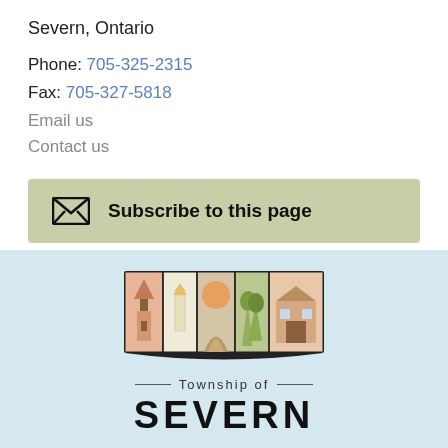Severn, Ontario
Phone: 705-325-2315
Fax: 705-327-5818
Email us
Contact us
Subscribe to this page
[Figure (logo): Township of Severn logo with illustrated panels showing local landmarks and scenery, with text 'Township of SEVERN' below]